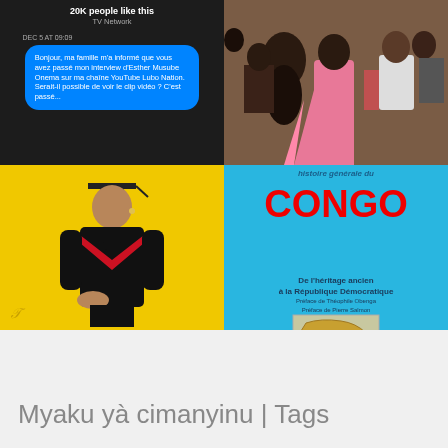[Figure (screenshot): Dark Facebook-style panel showing '20K people like this', 'TV Network', timestamp 'DEC 5 AT 09:09' and a blue message bubble in French about Esther Musube Onema interview on YouTube channel Lubo Nation]
[Figure (photo): People dancing in traditional African attire with colorful skirts and accessories]
[Figure (photo): Tshala Muana album cover with yellow background, woman in academic cap and black/red outfit, text 'TSHALA MUANA']
[Figure (photo): Book cover 'Histoire générale du CONGO' in red on blue background, subtitle 'De l'héritage ancien à la République Démocratique', Préface de Théophile Obenga, Préface de Pierre Salmon, with map of Congo]
Myaku yà cimanyinu | Tags